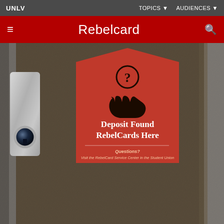UNLV | TOPICS ▼  AUDIENCES ▼
Rebelcard
[Figure (photo): Photo of a dark textured bulletin board or door with a metal lock/latch on the left side, and a red pentagonal sign reading 'Deposit Found RebelCards Here' with a hand and question mark icon. Below the main text is 'Questions? Visit the RebelCard Service Center in the Student Union.']